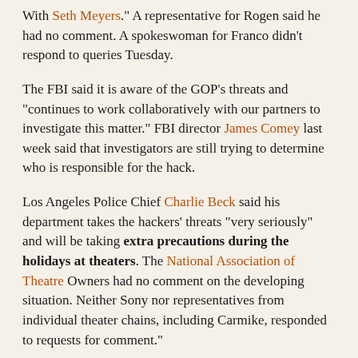With Seth Meyers." A representative for Rogen said he had no comment. A spokeswoman for Franco didn't respond to queries Tuesday.
The FBI said it is aware of the GOP's threats and "continues to work collaboratively with our partners to investigate this matter." FBI director James Comey last week said that investigators are still trying to determine who is responsible for the hack.
Los Angeles Police Chief Charlie Beck said his department takes the hackers' threats "very seriously" and will be taking extra precautions during the holidays at theaters. The National Association of Theatre Owners had no comment on the developing situation. Neither Sony nor representatives from individual theater chains, including Carmike, responded to requests for comment."
Well, I'll watch the movie when it comes out on Showtime. If it's half as funny as "This is the End," it's probably pretty good. But I